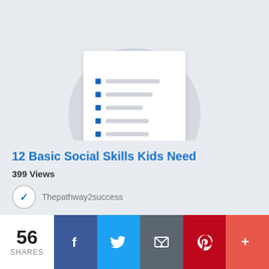[Figure (illustration): Preview thumbnail of a document with a checklist/list layout showing blue bullet squares and gray lines, overlaid on a circular gray background]
12 Basic Social Skills Kids Need
399 Views
Thepathway2success
56 SHARES